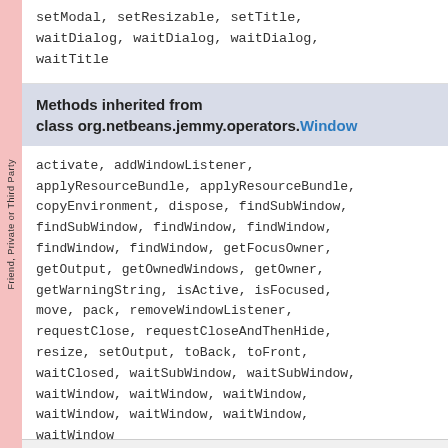setModal, setResizable, setTitle, waitDialog, waitDialog, waitDialog, waitTitle
Methods inherited from class org.netbeans.jemmy.operators.Window
activate, addWindowListener, applyResourceBundle, applyResourceBundle, copyEnvironment, dispose, findSubWindow, findSubWindow, findWindow, findWindow, findWindow, findWindow, getFocusOwner, getOutput, getOwnedWindows, getOwner, getWarningString, isActive, isFocused, move, pack, removeWindowListener, requestClose, requestCloseAndThenHide, resize, setOutput, toBack, toFront, waitClosed, waitSubWindow, waitSubWindow, waitWindow, waitWindow, waitWindow, waitWindow, waitWindow, waitWindow, waitWindow